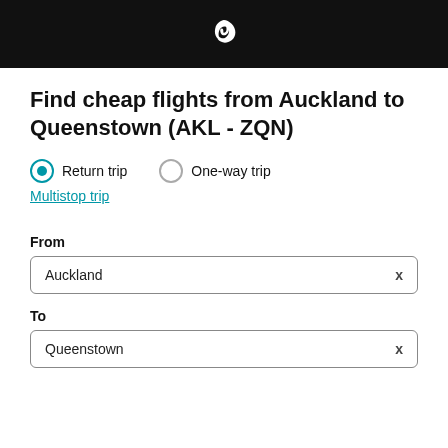[Figure (logo): Air New Zealand koru logo, white on black background header bar]
Find cheap flights from Auckland to Queenstown (AKL - ZQN)
Return trip
One-way trip
Multistop trip
From
Auckland
To
Queenstown